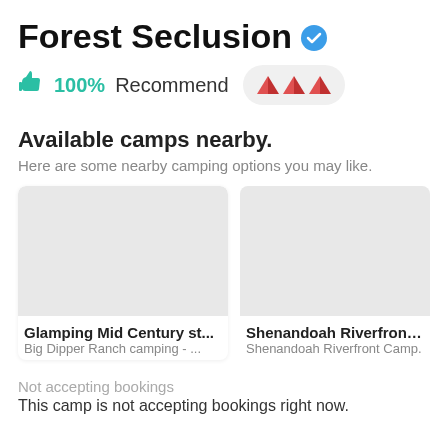Forest Seclusion
100% Recommend
Available camps nearby.
Here are some nearby camping options you may like.
[Figure (other): Camp card image placeholder for Glamping Mid Century st...]
Glamping Mid Century st...
Big Dipper Ranch camping - ...
[Figure (other): Camp card image placeholder for Shenandoah Riverfront C...]
Shenandoah Riverfront C...
Shenandoah Riverfront Camp.
Not accepting bookings
This camp is not accepting bookings right now.